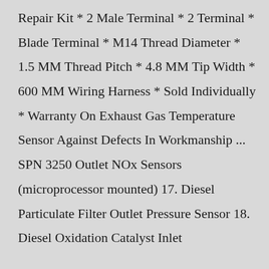Repair Kit * 2 Male Terminal * 2 Terminal * Blade Terminal * M14 Thread Diameter * 1.5 MM Thread Pitch * 4.8 MM Tip Width * 600 MM Wiring Harness * Sold Individually * Warranty On Exhaust Gas Temperature Sensor Against Defects In Workmanship ... SPN 3250 Outlet NOx Sensors (microprocessor mounted) 17. Diesel Particulate Filter Outlet Pressure Sensor 18. Diesel Oxidation Catalyst Inlet